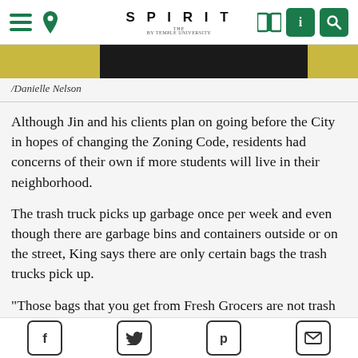THE SPIRIT
/Danielle Nelson
Although Jin and his clients plan on going before the City in hopes of changing the Zoning Code, residents had concerns of their own if more students will live in their neighborhood.
The trash truck picks up garbage once per week and even though there are garbage bins and containers outside or on the street, King says there are only certain bags the trash trucks pick up.
“Those bags that you get from Fresh Grocers are not trash bags,” King said. “They just get you from the store to home. If you have 10 of those stuffed in there, the trash truck doesn’t pick that up. Then the rats go into it, the cats and
social share icons: Facebook, Twitter, Pinterest, Email